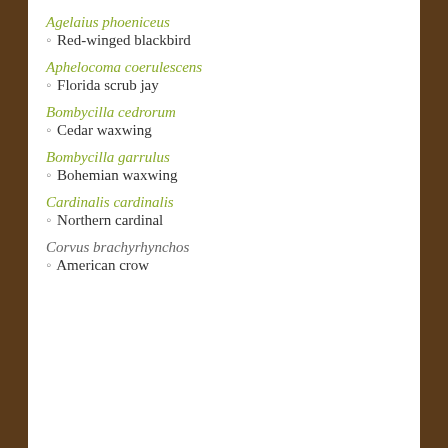Agelaius phoeniceus
◦ Red-winged blackbird
Aphelocoma coerulescens
◦ Florida scrub jay
Bombycilla cedrorum
◦ Cedar waxwing
Bombycilla garrulus
◦ Bohemian waxwing
Cardinalis cardinalis
◦ Northern cardinal
Corvus brachyrhynchos
◦ American crow
Privacy & Cookies: This site uses cookies. By continuing to use this website, you agree to their use.
To find out more, including how to control cookies, see here: Cookie Policy